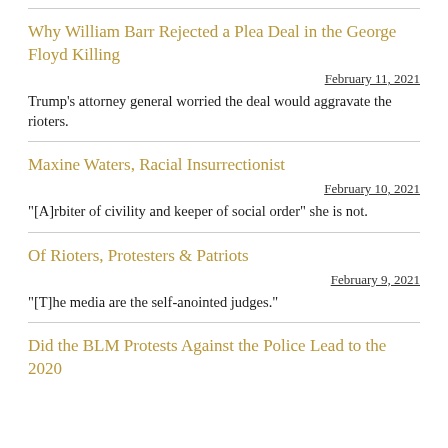Why William Barr Rejected a Plea Deal in the George Floyd Killing
February 11, 2021
Trump's attorney general worried the deal would aggravate the rioters.
Maxine Waters, Racial Insurrectionist
February 10, 2021
"[A]rbiter of civility and keeper of social order" she is not.
Of Rioters, Protesters & Patriots
February 9, 2021
"[T]he media are the self-anointed judges."
Did the BLM Protests Against the Police Lead to the 2020